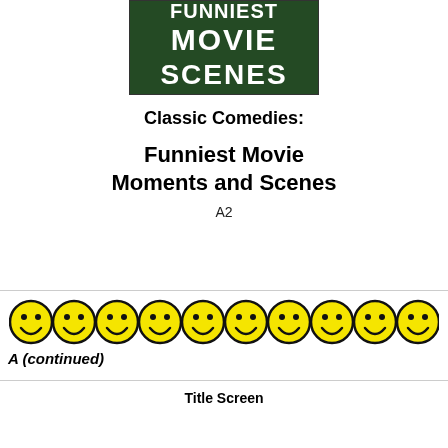[Figure (photo): Cover image showing 'FUNNIEST MOVIE SCENES' text in bold white letters on a dark background]
Classic Comedies:
Funniest Movie Moments and Scenes
A2
[Figure (illustration): Row of 10 yellow smiley face emoji icons]
A (continued)
Title Screen